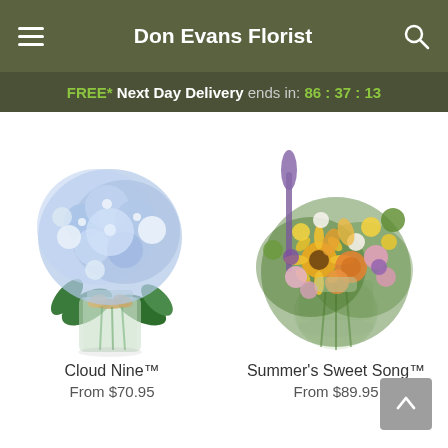Don Evans Florist
FREE* Next Day Delivery ends in: 86 : 37 : 13
[Figure (photo): Cloud Nine flower arrangement: a large bouquet of blue and white hydrangeas in a glass mason jar with twine bow]
Cloud Nine™
From $70.95
[Figure (photo): Summer's Sweet Song flower arrangement: a colorful mixed bouquet of sunflowers, roses, lilies, and purple flowers in a round glass vase]
Summer's Sweet Song™
From $89.95